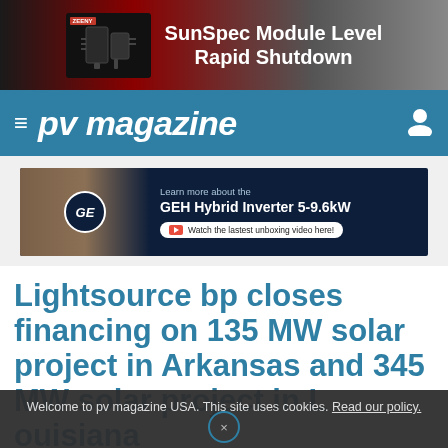[Figure (screenshot): Top advertisement banner: ZEENY brand, SunSpec Module Level Rapid Shutdown product ad with dark background showing inverter hardware]
≡ pv magazine
[Figure (screenshot): GE Hybrid Inverter advertisement banner: Learn more about the GEH Hybrid Inverter 5-9.6kW. Watch the lastest unboxing video here!]
Lightsource bp closes financing on 135 MW solar project in Arkansas and 345 MW solar project in Louisiana
Welcome to pv magazine USA. This site uses cookies. Read our policy.